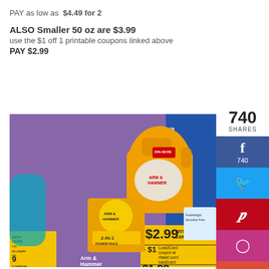PAY as low as $4.49 for 2
ALSO Smaller 50 oz are $3.99
use the $1 off 1 printable coupons linked above
PAY $2.99
[Figure (photo): Store advertisement photo showing Arm & Hammer Laundry Detergent 43-50 oz or 21 ct products with pricing: $2.99 with card, -$1 Load2Card coupon at ritaaid.com/load2card, $1.99 after coupon savings]
740
SHARES
[Figure (infographic): Social share buttons: Facebook (740), Twitter, Pinterest, Instagram, Google+]